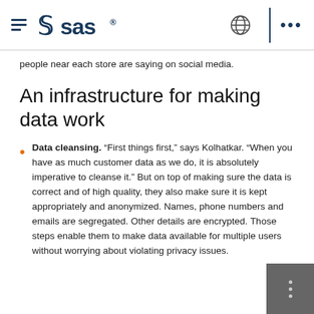SAS navigation header with hamburger menu, SAS logo, globe icon, and more menu
people near each store are saying on social media.
An infrastructure for making data work
Data cleansing. “First things first,” says Kolhatkar. “When you have as much customer data as we do, it is absolutely imperative to cleanse it.” But on top of making sure the data is correct and of high quality, they also make sure it is kept appropriately and anonymized. Names, phone numbers and emails are segregated. Other details are encrypted. Those steps enable them to make data available for multiple users without worrying about violating privacy issues.